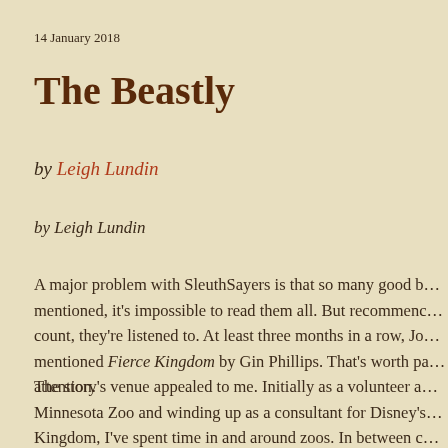14 January 2018
The Beastly
by Leigh Lundin
by Leigh Lundin
A major problem with SleuthSayers is that so many good b… mentioned, it's impossible to read them all. But recommenc… count, they're listened to. At least three months in a row, Jo… mentioned Fierce Kingdom by Gin Phillips. That's worth pa… attention.
The story's venue appealed to me. Initially as a volunteer a… Minnesota Zoo and winding up as a consultant for Disney's… Kingdom, I've spent time in and around zoos. In between c… animal businesses and odd little assignments such as roun… African goose to be shipped to Sacramento and prairie do…